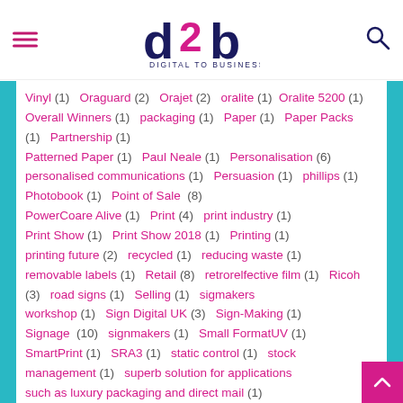d2b Digital to Business
Vinyl (1) Oraguard (2) Orajet (2) oralite (1) Oralite 5200 (1) Overall Winners (1) packaging (1) Paper (1) Paper Packs (1) Partnership (1) Patterned Paper (1) Paul Neale (1) Personalisation (6) personalised communications (1) Persuasion (1) phillips (1) Photobook (1) Point of Sale (8) PowerCoare Alive (1) Print (4) print industry (1) Print Show (1) Print Show 2018 (1) Printing (1) printing future (2) recycled (1) reducing waste (1) removable labels (1) Retail (8) retrorelfective film (1) Ricoh (3) road signs (1) Selling (1) sigmakers workshop (1) Sign Digital UK (3) Sign-Making (1) Signage (10) signmakers (1) Small FormatUV (1) SmartPrint (1) SRA3 (1) static control (1) stock management (1) superb solution for applications such as luxury packaging and direct mail (1) synthetic label (1) Telephone Appointments (1) temperature (1) Textured Images (1) Textured Paper (1) the book (1) the create range (1) The Review (1) The Review 2018 (1) The Review 2018 Design & Print Awards (1) The Review Awards (1)